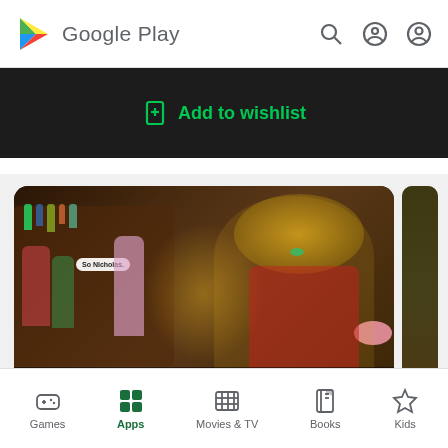Google Play
Add to wishlist
[Figure (screenshot): Google Play store screenshot showing The Seven Deadly Sins anime game with characters in a tavern setting. Text overlay reads '[The Seven Deadly Sins] are on mobile!']
Games | Apps | Movies & TV | Books | Kids